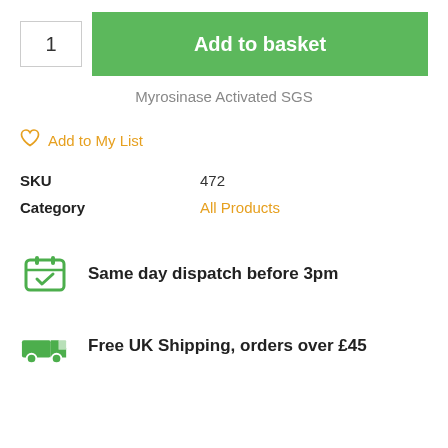[Figure (screenshot): Quantity input box showing '1' and green 'Add to basket' button]
Myrosinase Activated SGS
♡ Add to My List
SKU    472
Category    All Products
Same day dispatch before 3pm
Free UK Shipping, orders over £45